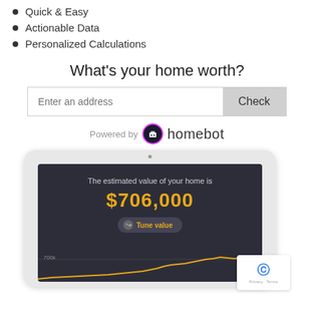Quick & Easy
Actionable Data
Personalized Calculations
What's your home worth?
Powered by homebot
[Figure (screenshot): Tablet device showing homebot home value estimate screen with The estimated value of your home is $706,000, a Tune value button, a chart line at 700k, and a gold/orange line chart at the bottom]